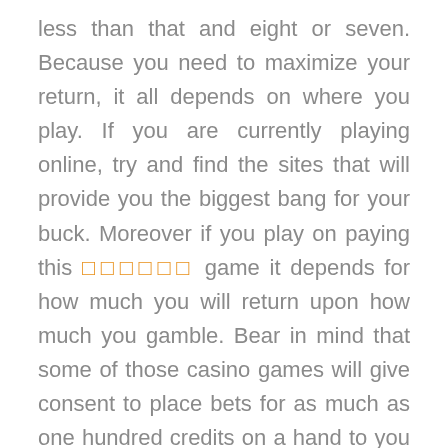less than that and eight or seven. Because you need to maximize your return, it all depends on where you play. If you are currently playing online, try and find the sites that will provide you the biggest bang for your buck. Moreover if you play on paying this [orange squares] game it depends for how much you will return upon how much you gamble. Bear in mind that some of those casino games will give consent to place bets for as much as one hundred credits on a hand to you if you so choose.
One tip: if you on playing online plan, bear in mind